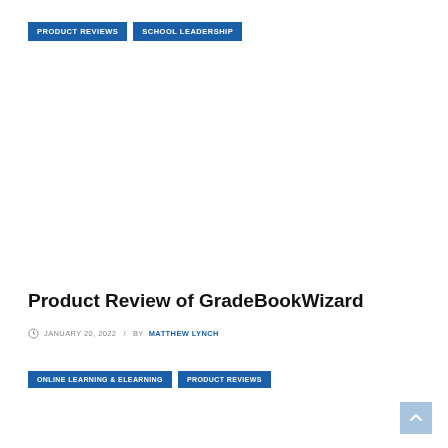PRODUCT REVIEWS | SCHOOL LEADERSHIP
Product Review of GradeBookWizard
JANUARY 20, 2022 / BY MATTHEW LYNCH
ONLINE LEARNING & ELEARNING | PRODUCT REVIEWS